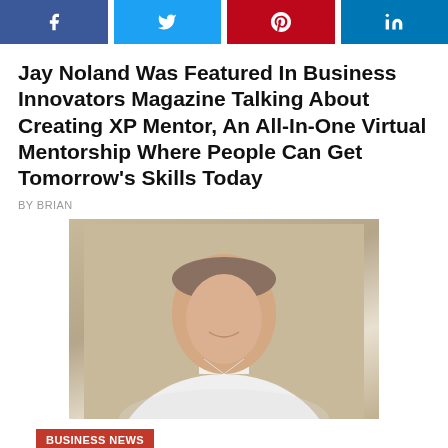[Figure (infographic): Social media share buttons: Facebook (blue), Twitter (blue), Pinterest (red), LinkedIn (blue)]
Jay Noland Was Featured In Business Innovators Magazine Talking About Creating XP Mentor, An All-In-One Virtual Mentorship Where People Can Get Tomorrow's Skills Today
BY BRIAN
[Figure (photo): Portrait photo of a man in a white dress shirt, smiling, against a tan/beige wall background]
BUSINESS NEWS
Sean Pahut, a Financial Consultant with Montana Wealth Management, was Interviewed on Podcast About How the Benefits of Delegating Impact...